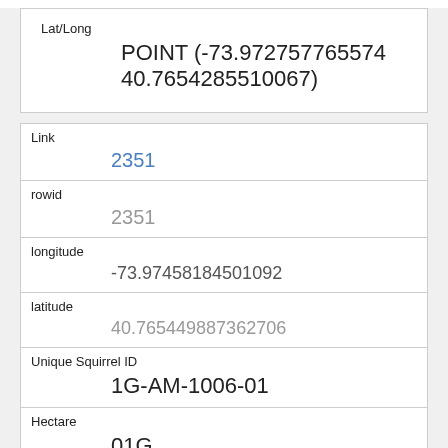| Lat/Long | POINT (-73.972757765574 40.7654285510067) |
| Link | 2351 |
| rowid | 2351 |
| longitude | -73.97458184501092 |
| latitude | 40.765449887362706 |
| Unique Squirrel ID | 1G-AM-1006-01 |
| Hectare | 01G |
| Shift | AM |
| Date | 10062018 |